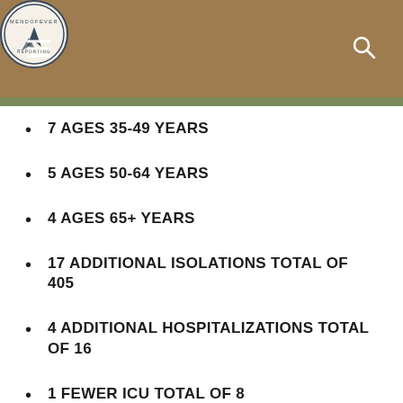MENDOFEVER REPORTING
7 AGES 35-49 YEARS
5 AGES 50-64 YEARS
4 AGES 65+ YEARS
17 ADDITIONAL ISOLATIONS TOTAL OF 405
4 ADDITIONAL HOSPITALIZATIONS TOTAL OF 16
1 FEWER ICU TOTAL OF 8
3 ADDITIONAL DEATHS TOTAL 67